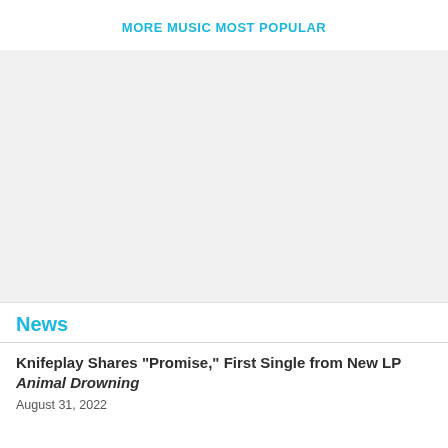More Music Most Popular
[Figure (other): Advertisement placeholder area with light gray background]
News
Knifeplay Shares "Promise," First Single from New LP Animal Drowning
August 31, 2022